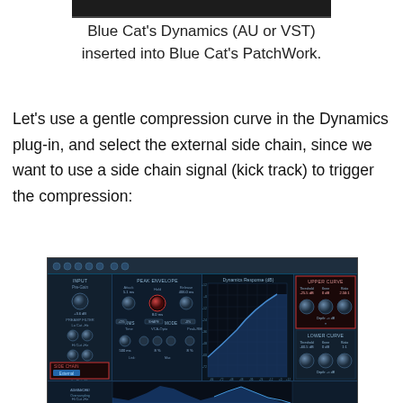[Figure (screenshot): Top edge of a Blue Cat's PatchWork plugin screenshot, dark bar]
Blue Cat’s Dynamics (AU or VST) inserted into Blue Cat’s PatchWork.
Let’s use a gentle compression curve in the Dynamics plug-in, and select the external side chain, since we want to use a side chain signal (kick track) to trigger the compression:
[Figure (screenshot): Screenshot of Blue Cat's Dynamics plugin interface showing compression curve graph, side chain set to External (highlighted with red box), upper curve settings with Threshold -25.5 dB, Knee 0 dB, Ratio 2.56:1, and lower curve section with knobs.]